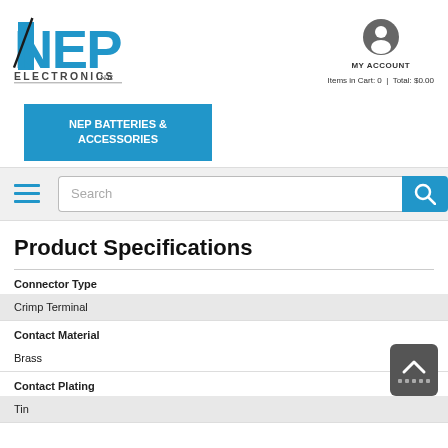[Figure (logo): NEP Electronics Inc. logo in blue and dark gray]
MY ACCOUNT
Items in Cart: 0  |  Total: $0.00
NEP BATTERIES & ACCESSORIES
Product Specifications
| Attribute | Value |
| --- | --- |
| Connector Type | Crimp Terminal |
| Contact Material | Brass |
| Contact Plating | Tin |